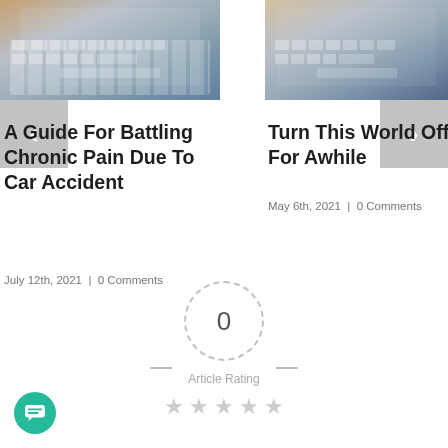[Figure (photo): Hands typing on laptop keyboard, warm orange-grey tones, left card thumbnail]
[Figure (photo): Hands typing on laptop keyboard, cool grey-blue tones, right card thumbnail]
A Guide For Battling Chronic Pain Due To Car Accident
July 12th, 2021  |  0 Comments
Turn This World Off For Awhile
May 6th, 2021  |  0 Comments
[Figure (infographic): Article rating widget with dashed circle showing 0, dashes on sides, 'Article Rating' label, and 5 empty grey stars below]